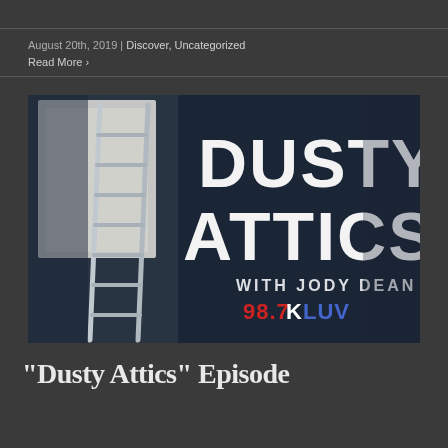August 20th, 2019 | Discover, Uncategorized
Read More >
[Figure (photo): Promotional image for 'Dusty Attics with Jody Dean' on 98.7 KLUV radio show. Dark navy background with bold white distressed lettering reading 'DUSTY ATTICS WITH JODY DEAN' and a ladder on the left side. 98.7 KLUV logo in bottom right corner.]
"Dusty Attics" Episode